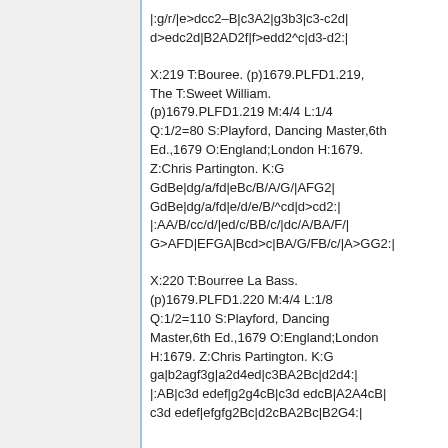|:g/r/|e>dcc2-B|c3A2|g3b3|c3-c2d|d>edc2d|B2AD2f|f>edd2^c|d3-d2:|
X:219 T:Bouree. (p)1679.PLFD1.219, The T:Sweet William. (p)1679.PLFD1.219 M:4/4 L:1/4 Q:1/2=80 S:Playford, Dancing Master,6th Ed.,1679 O:England;London H:1679. Z:Chris Partington. K:G GdBe|dg/a/fd|eBc/B/A/G/|AFG2|GdBe|dg/a/fd|e/d/e/B/^cd|d>cd2:|:AA/B/cc/d/|ed/c/BB/c/|dc/A/BA/F/|G>AFD|EFGA|Bcd>c|BA/G/FB/c/|A>GG2:|
X:220 T:Bourree La Bass. (p)1679.PLFD1.220 M:4/4 L:1/8 Q:1/2=110 S:Playford, Dancing Master,6th Ed.,1679 O:England;London H:1679. Z:Chris Partington. K:G ga|b2agf3g|a2d4ed|c3BA2Bc|d2d4:|:AB|c3d edef|g2g4cB|c3d edcB|A2A4cB|c3d edef|efgfg2Bc|d2cBA2Bc|B2G4:|